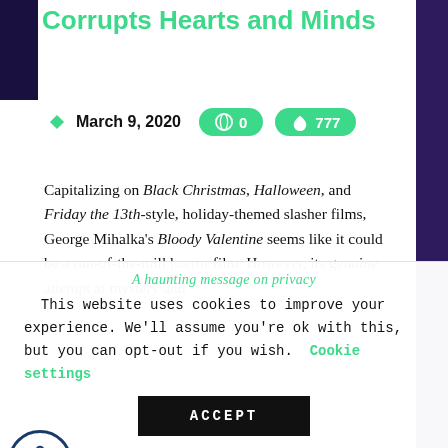Corrupts Hearts and Minds
March 9, 2020  [comments: 0]  [likes: 777]
Capitalizing on Black Christmas, Halloween, and Friday the 13th-style, holiday-themed slasher films, George Mihalka's Bloody Valentine seems like it could be a run-of-the-mill horror film. However, its genuine attempt at mystery and
A haunting message on privacy
This website uses cookies to improve your experience. We'll assume you're ok with this, but you can opt-out if you wish. Cookie settings
ACCEPT